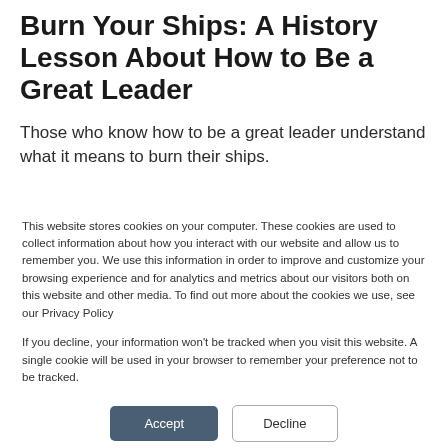Burn Your Ships: A History Lesson About How to Be a Great Leader
Those who know how to be a great leader understand what it means to burn their ships.
Continue Reading >
This website stores cookies on your computer. These cookies are used to collect information about how you interact with our website and allow us to remember you. We use this information in order to improve and customize your browsing experience and for analytics and metrics about our visitors both on this website and other media. To find out more about the cookies we use, see our Privacy Policy
If you decline, your information won't be tracked when you visit this website. A single cookie will be used in your browser to remember your preference not to be tracked.
Accept
Decline